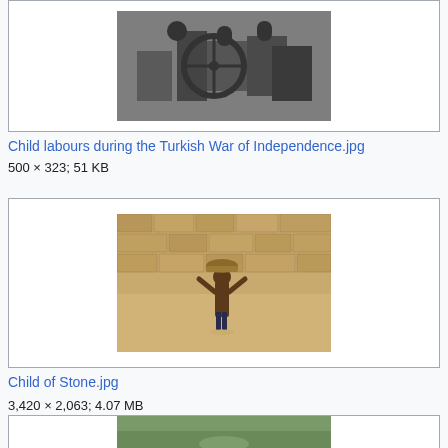[Figure (photo): Black and white historical photo of child labourers during the Turkish War of Independence, showing people working near machinery]
Child labours during the Turkish War of Independence.jpg
500 × 323; 51 KB
[Figure (photo): Color photo of a child carrying a basket on their head while standing in water, with a stone wall in the background]
Child of Stone.jpg
3,420 × 2,063; 4.07 MB
[Figure (photo): Partially visible photo at the bottom of the page]